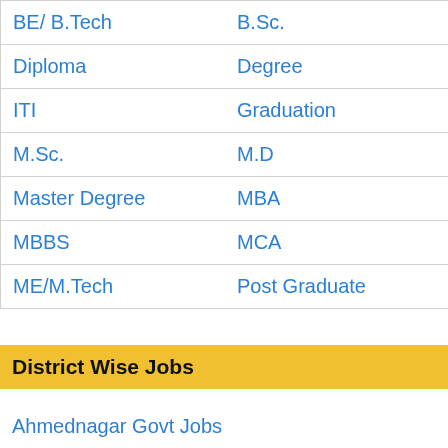| BE/ B.Tech | B.Sc. |
| Diploma | Degree |
| ITI | Graduation |
| M.Sc. | M.D |
| Master Degree | MBA |
| MBBS | MCA |
| ME/M.Tech | Post Graduate |
District Wise Jobs
Ahmednagar Govt Jobs
Akola Govt Jobs
Amravati Govt Jobs